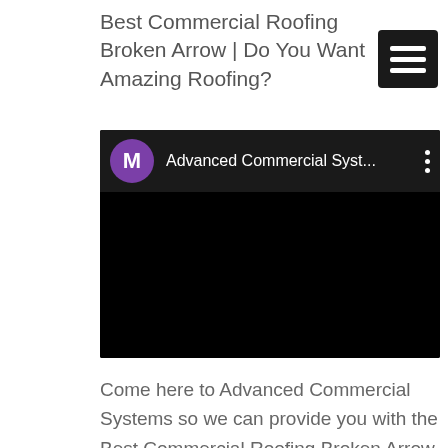Best Commercial Roofing Broken Arrow | Do You Want Amazing Roofing?
[Figure (screenshot): YouTube video embed showing 'Advanced Commercial Syst...' channel with purple M avatar icon, dark header bar with vertical dots menu, and black video body area.]
Come here to Advanced Commercial Systems so we can provide you with the Best Commercial Roofing Broken Arrow and give you everything you desire for the roof of your home. Do you need repairs, reroofings,